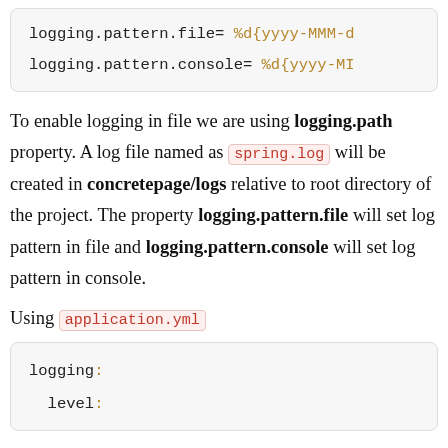[Figure (screenshot): Code box showing two lines: logging.pattern.file= %d{yyyy-MMM-d and logging.pattern.console= %d{yyyy-MI]
To enable logging in file we are using logging.path property. A log file named as spring.log will be created in concretepage/logs relative to root directory of the project. The property logging.pattern.file will set log pattern in file and logging.pattern.console will set log pattern in console.
Using application.yml
[Figure (screenshot): Code box showing YAML config: logging: then level:]